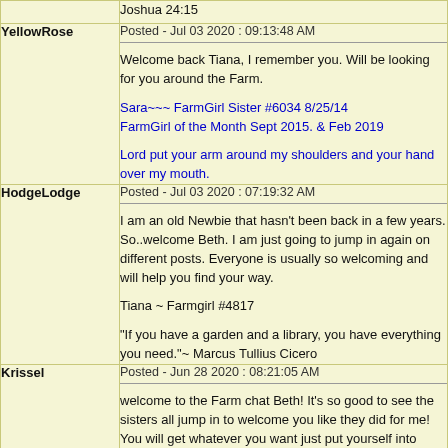| User | Post |
| --- | --- |
|  | Joshua 24:15 |
| YellowRose | Posted - Jul 03 2020 : 09:13:48 AM
Welcome back Tiana, I remember you. Will be looking for you around the Farm.
Sara~~~ FarmGirl Sister #6034 8/25/14 FarmGirl of the Month Sept 2015. & Feb 2019
Lord put your arm around my shoulders and your hand over my mouth. |
| HodgeLodge | Posted - Jul 03 2020 : 07:19:32 AM
I am an old Newbie that hasn't been back in a few years. So..welcome Beth. I am just going to jump in again on different posts. Everyone is usually so welcoming and will help you find your way.
Tiana ~ Farmgirl #4817
"If you have a garden and a library, you have everything you need."~ Marcus Tullius Cicero |
| Krissel | Posted - Jun 28 2020 : 08:21:05 AM
welcome to the Farm chat Beth! It's so good to see the sisters all jump in to welcome you like they did for me!
You will get whatever you want just put yourself into |